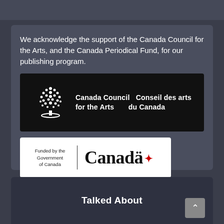We acknowledge the support of the Canada Council for the Arts, and the Canada Periodical Fund, for our publishing program.
[Figure (logo): Canada Council for the Arts / Conseil des arts du Canada logo on black background with tree icon]
[Figure (logo): Funded by the Government of Canada / Canada wordmark logo on white background]
Talked About